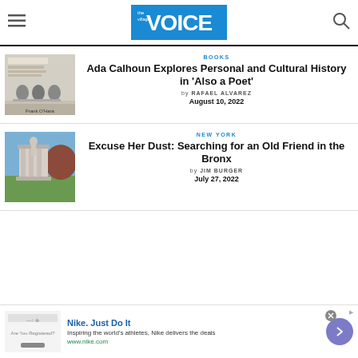The Village Voice
BOOKS
Ada Calhoun Explores Personal and Cultural History in 'Also a Poet'
by RAFAEL ALVAREZ
August 10, 2022
NEW YORK
Excuse Her Dust: Searching for an Old Friend in the Bronx
by JIM BURGER
July 27, 2022
Nike. Just Do It
Inspiring the world's athletes, Nike delivers the deals
www.nike.com